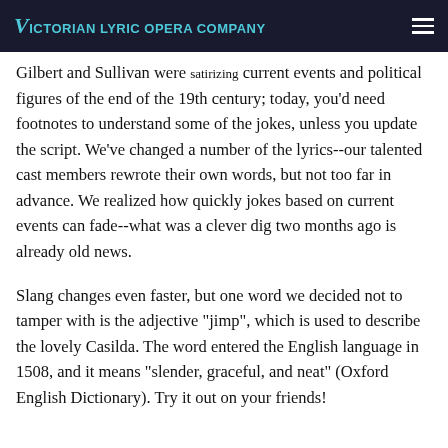Victorian Lyric Opera Company
Gilbert and Sullivan were satirizing current events and political figures of the end of the 19th century; today, you'd need footnotes to understand some of the jokes, unless you update the script. We've changed a number of the lyrics--our talented cast members rewrote their own words, but not too far in advance. We realized how quickly jokes based on current events can fade--what was a clever dig two months ago is already old news.
Slang changes even faster, but one word we decided not to tamper with is the adjective "jimp", which is used to describe the lovely Casilda. The word entered the English language in 1508, and it means "slender, graceful, and neat" (Oxford English Dictionary). Try it out on your friends!